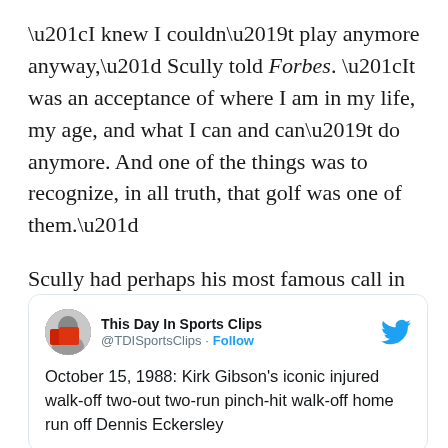“I knew I couldn’t play anymore anyway,” Scully told Forbes. “It was an acceptance of where I am in my life, my age, and what I can and can’t do anymore. And one of the things was to recognize, in all truth, that golf was one of them.”
Scully had perhaps his most famous call in the 1988 MLB playoffs.
[Figure (screenshot): Embedded tweet from @TDISportsClips (This Day In Sports Clips) with Follow button and Twitter bird logo. Tweet text: October 15, 1988: Kirk Gibson’s iconic injured walk-off two-out two-run pinch-hit walk-off home run off Dennis Eckersley]